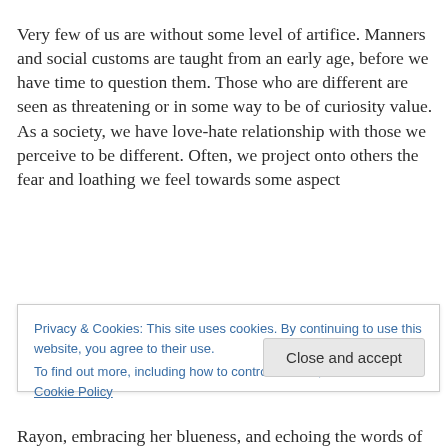Very few of us are without some level of artifice. Manners and social customs are taught from an early age, before we have time to question them. Those who are different are seen as threatening or in some way to be of curiosity value. As a society, we have love-hate relationship with those we perceive to be different. Often, we project onto others the fear and loathing we feel towards some aspect
Privacy & Cookies: This site uses cookies. By continuing to use this website, you agree to their use.
To find out more, including how to control cookies, see here: Cookie Policy
Close and accept
Rayon, embracing her blueness, and echoing the words of